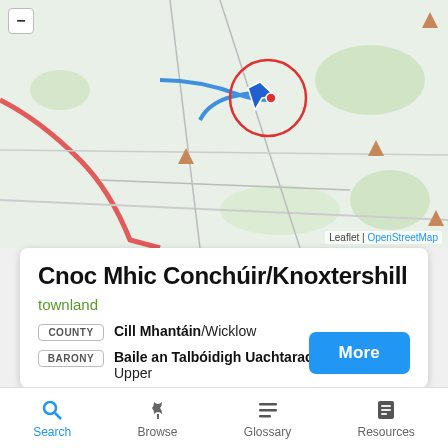[Figure (map): OpenStreetMap tile showing location of Cnoc Mhic Conchúir/Knoxtershill with a blue navigation marker and red circle highlight, plus a red route line. Attribution: Leaflet | OpenStreetMap]
Cnoc Mhic Conchúir/Knoxtershill
townland
COUNTY  Cill Mhantáin/Wicklow
BARONY  Baile an Talbóidigh Uachtarach/Talbotstown Upper
CIVIL PARISH  Baile an Iúir/Ballynure
More
Search  Browse  Glossary  Resources